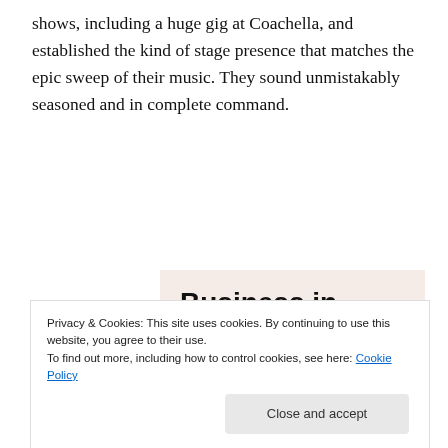shows, including a huge gig at Coachella, and established the kind of stage presence that matches the epic sweep of their music. They sound unmistakably seasoned and in complete command.
[Figure (screenshot): Advertisement image: 'Business in the front...' text on light background, with 'WordPress in the back.' text on an orange/pink gradient background with circles]
Privacy & Cookies: This site uses cookies. By continuing to use this website, you agree to their use. To find out more, including how to control cookies, see here: Cookie Policy
As a vocalist, Gonzalez has learned to really belt out the